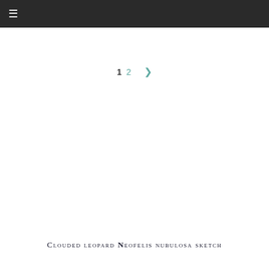☰
1 2 ❯
Clouded leopard Neofelis nubulosa sketch